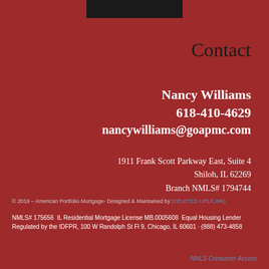[Figure (logo): Dark logo bar at top center]
Contact
Nancy Williams
618-410-4629
nancywilliams@goapmc.com
1911 Frank Scott Parkway East, Suite 4
Shiloh, IL 62269
Branch NMLS# 1794744
© 2019 – American Portfolio Mortgage- Designed & Maintained by [link]
NMLS# 175656  IL Residential Mortgage License MB.0005608  Equal Housing Lender  Regulated by the IDFPR, 100 W Randolph St Fl 9, Chicago, IL 60601 · (888) 473-4858
NMLS Consumer Access